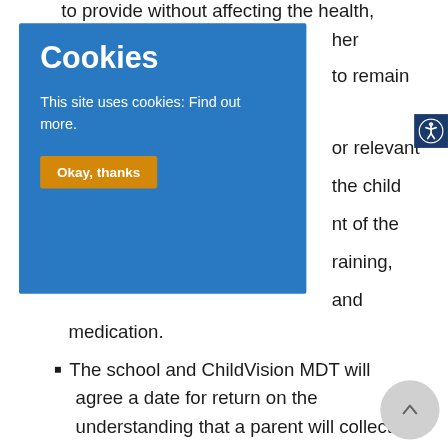to provide without affecting the health,
her
to remain
[Figure (screenshot): Cookie consent overlay with blue background. Title 'Cookies' in large bold white text. Body text 'This site uses cookies: Find out more.' in white. Orange button labeled 'Okay, thanks'.]
[Figure (infographic): Blue accessibility icon button with wheelchair/person symbol in white circle on dark blue background.]
or relevant
the child
nt of the
raining,
and
medication.
The school and ChildVision MDT will agree a date for return on the understanding that a parent will collect